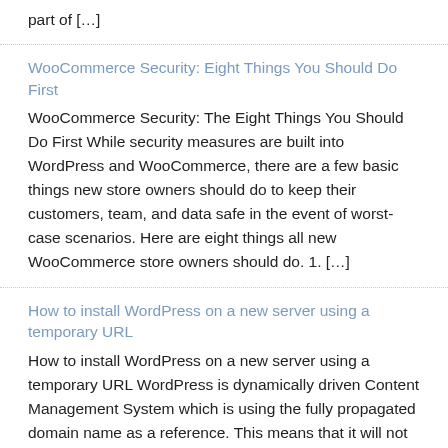part of […]
WooCommerce Security: Eight Things You Should Do First
WooCommerce Security: The Eight Things You Should Do First While security measures are built into WordPress and WooCommerce, there are a few basic things new store owners should do to keep their customers, team, and data safe in the event of worst-case scenarios. Here are eight things all new WooCommerce store owners should do. 1. […]
How to install WordPress on a new server using a temporary URL
How to install WordPress on a new server using a temporary URL WordPress is dynamically driven Content Management System which is using the fully propagated domain name as a reference. This means that it will not work correctly on a new server with the domain name not propagated and using your temporary URL if it […]